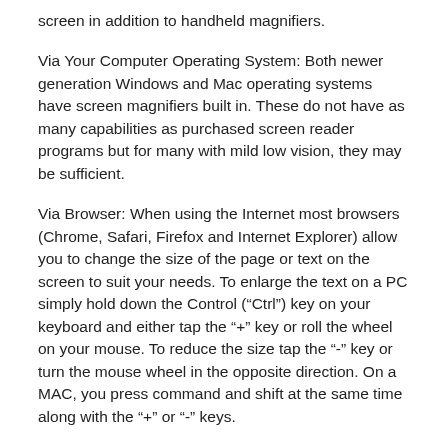screen in addition to handheld magnifiers.
Via Your Computer Operating System: Both newer generation Windows and Mac operating systems have screen magnifiers built in. These do not have as many capabilities as purchased screen reader programs but for many with mild low vision, they may be sufficient.
Via Browser: When using the Internet most browsers (Chrome, Safari, Firefox and Internet Explorer) allow you to change the size of the page or text on the screen to suit your needs. To enlarge the text on a PC simply hold down the Control (“Ctrl”) key on your keyboard and either tap the “+” key or roll the wheel on your mouse. To reduce the size tap the “-” key or turn the mouse wheel in the opposite direction. On a MAC, you press command and shift at the same time along with the “+” or “-” keys.
Additionally, the browser might have a drop down option under the “view” tab that allows you to Zoom the screen in or out or make the text larger or smaller. Keep in mind that if you are using a larger higher quality screen, this will enable you to see bigger and more clearly as well.